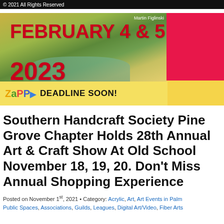© 2021 All Rights Reserved
[Figure (illustration): Promotional banner for an art show event. Shows a landscape painting background with golden grasses and water, overlaid with bold red text reading 'FEBRUARY 4 & 5 2023', a pink/red block on the right, and a yellow bottom bar with the ZAPP logo and 'DEADLINE SOON!' text. Artist credit: Martin Figlinski.]
Southern Handcraft Society Pine Grove Chapter Holds 28th Annual Art & Craft Show At Old School November 18, 19, 20. Don't Miss Annual Shopping Experience
Posted on November 1st, 2021 • Category: Acrylic, Art, Art Events in Palm Public Spaces, Associations, Guilds, Leagues, Digital Art/Video, Fiber Arts